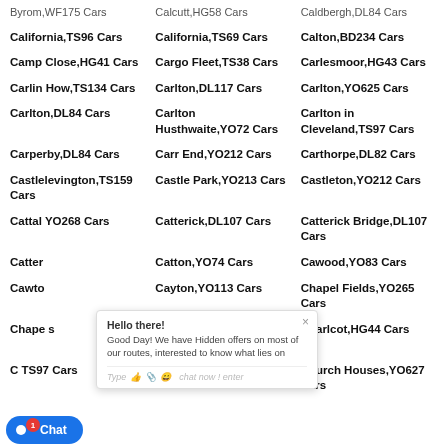Byrom,WF175 Cars
Calcutt,HG58 Cars
Caldbergh,DL84 Cars
California,TS96 Cars
California,TS69 Cars
Calton,BD234 Cars
Camp Close,HG41 Cars
Cargo Fleet,TS38 Cars
Carlesmoor,HG43 Cars
Carlin How,TS134 Cars
Carlton,DL117 Cars
Carlton,YO625 Cars
Carlton,DL84 Cars
Carlton Husthwaite,YO72 Cars
Carlton in Cleveland,TS97 Cars
Carperby,DL84 Cars
Carr End,YO212 Cars
Carthorpe,DL82 Cars
Castlelevington,TS159 Cars
Castle Park,YO213 Cars
Castleton,YO212 Cars
Cattal,YO268 Cars
Catterick,DL107 Cars
Catterick Bridge,DL107 Cars
Catton,YO74 Cars
Cawood,YO83 Cars
Cawton,[...] Cars
Cayton,YO113 Cars
Chapel Fields,YO265 Cars
Chapel [...] Cars
Chapel-le-Dale,LA63 Cars
Charlcot,HG44 Cars
Church Fenton,LS249 Cars
Church Houses,YO627 Cars